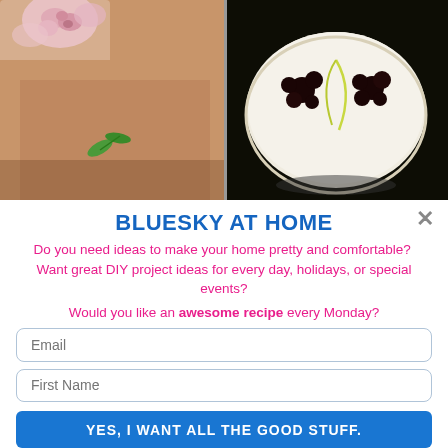[Figure (photo): Left photo: close-up of skin with green leaf decoration and floral fabric in background]
[Figure (photo): Right photo: white frosted cake with dark flower decorations on top, viewed from above]
BLUESKY AT HOME
Do you need ideas to make your home pretty and comfortable?  Want great DIY project ideas for every day, holidays, or special events?
Would you like an awesome recipe every Monday?
Email
First Name
YES, I WANT ALL THE GOOD STUFF.